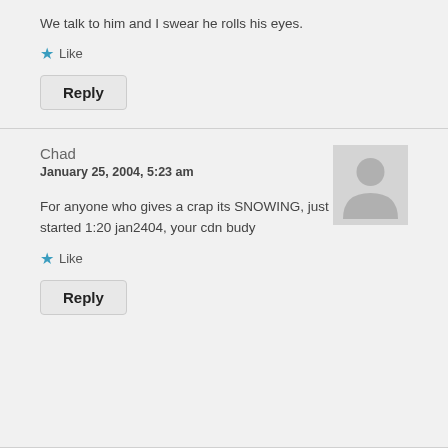We talk to him and I swear he rolls his eyes.
★ Like
Reply
Chad
January 25, 2004, 5:23 am
[Figure (illustration): Generic user avatar placeholder — grey rectangle with a white silhouette of a person]
For anyone who gives a crap its SNOWING, just started 1:20 jan2404, your cdn budy
★ Like
Reply